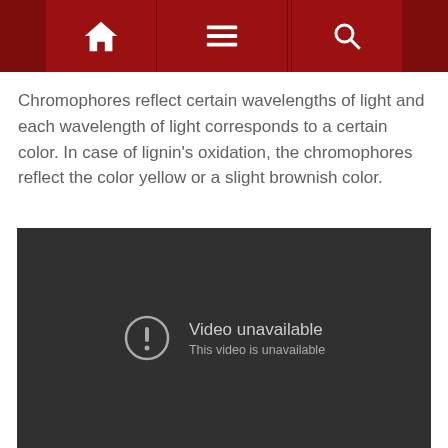Navigation bar with home, menu, and search icons
Chromophores reflect certain wavelengths of light and each wavelength of light corresponds to a certain color. In case of lignin's oxidation, the chromophores reflect the color yellow or a slight brownish color.
[Figure (screenshot): Video unavailable placeholder with dark background showing 'Video unavailable' and 'This video is unavailable' message with a circle exclamation icon]